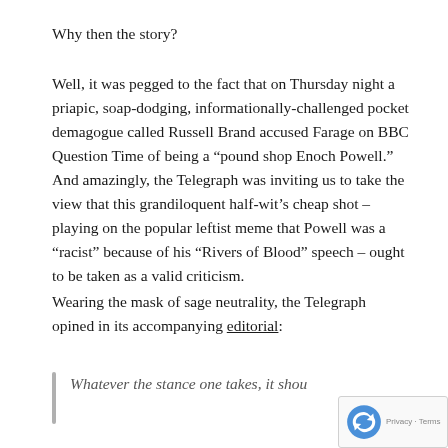Why then the story?
Well, it was pegged to the fact that on Thursday night a priapic, soap-dodging, informationally-challenged pocket demagogue called Russell Brand accused Farage on BBC Question Time of being a “pound shop Enoch Powell.” And amazingly, the Telegraph was inviting us to take the view that this grandiloquent half-wit’s cheap shot – playing on the popular leftist meme that Powell was a “racist” because of his “Rivers of Blood” speech – ought to be taken as a valid criticism.
Wearing the mask of sage neutrality, the Telegraph opined in its accompanying editorial:
Whatever the stance one takes, it shou